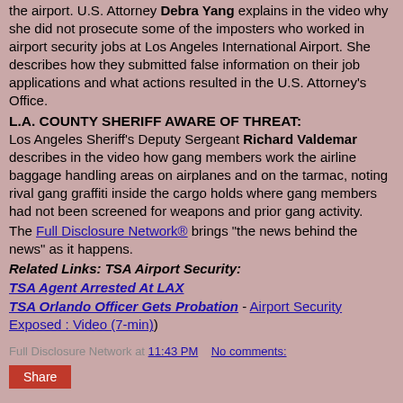the airport. U.S. Attorney Debra Yang explains in the video why she did not prosecute some of the imposters who worked in airport security jobs at Los Angeles International Airport. She describes how they submitted false information on their job applications and what actions resulted in the U.S. Attorney's Office.
L.A. COUNTY SHERIFF AWARE OF THREAT:
Los Angeles Sheriff's Deputy Sergeant Richard Valdemar describes in the video how gang members work the airline baggage handling areas on airplanes and on the tarmac, noting rival gang graffiti inside the cargo holds where gang members had not been screened for weapons and prior gang activity.
The Full Disclosure Network® brings "the news behind the news" as it happens.
Related Links: TSA Airport Security:
TSA Agent Arrested At LAX
TSA Orlando Officer Gets Probation - Airport Security Exposed : Video (7-min)
Full Disclosure Network at 11:43 PM   No comments:
Share